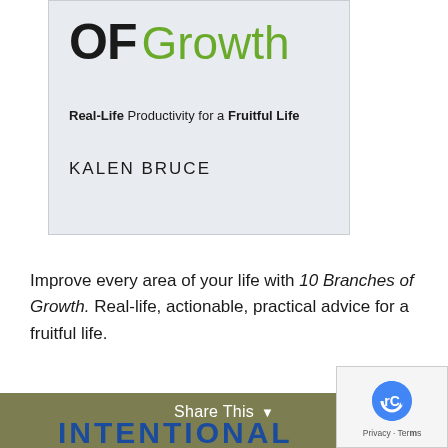[Figure (illustration): Book cover for '10 Branches of Growth' by Kalen Bruce. Gray background with bold black 'OF' and green handwritten-style 'Growth' text. Subtitle: Real-Life Productivity for a Fruitful Life. Author: KALEN BRUCE.]
Improve every area of your life with 10 Branches of Growth. Real-life, actionable, practical advice for a fruitful life.
Paperback | Audible | Kindle
[Figure (screenshot): Bottom section showing Share This bar with a dark olive/brown background and partial text 'INTENTIONAL' in blue bold letters, plus a reCAPTCHA widget in the bottom right.]